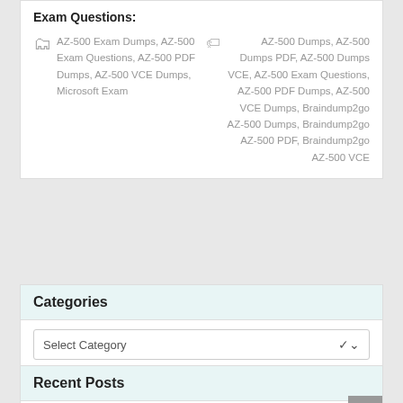Exam Questions:
AZ-500 Exam Dumps, AZ-500 Exam Questions, AZ-500 PDF Dumps, AZ-500 VCE Dumps, Microsoft Exam
AZ-500 Dumps, AZ-500 Dumps PDF, AZ-500 Dumps VCE, AZ-500 Exam Questions, AZ-500 PDF Dumps, AZ-500 VCE Dumps, Braindump2go AZ-500 Dumps, Braindump2go AZ-500 PDF, Braindump2go AZ-500 VCE
Categories
Select Category
Recent Posts
[August-2022]XK0-004 Exam VCE Dumps Free Download in